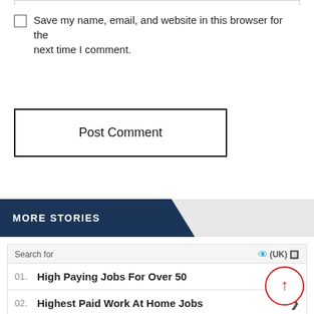Save my name, email, and website in this browser for the next time I comment.
Post Comment
MORE STORIES
[Figure (screenshot): Sponsored ad widget from Yahoo! Search showing two job search results: 01. High Paying Jobs For Over 50, 02. Highest Paid Work At Home Jobs. Labeled (UK) with eye icon and play button.]
Search for
01. High Paying Jobs For Over 50
02. Highest Paid Work At Home Jobs
Yahoo! Search | Sponsored